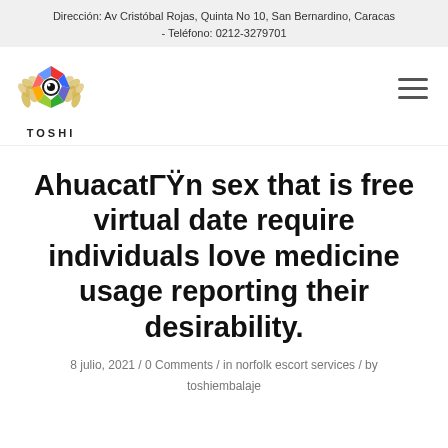Dirección: Av Cristóbal Rojas, Quinta No 10, San Bernardino, Caracas - Teléfono: 0212-3279701
[Figure (logo): TOSHI colorful star/camera logo with laurel wreath and text TOSHI below]
AhuacatΓŸn sex that is free virtual date require individuals love medicine usage reporting their desirability.
8 julio, 2021 / 0 Comments / in norfolk escort services / by toshiembalaje